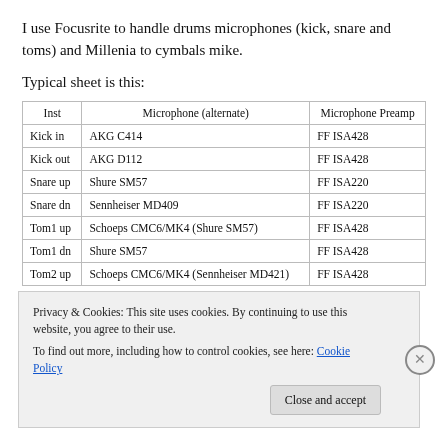I use Focusrite to handle drums microphones (kick, snare and toms) and Millenia to cymbals mike.
Typical sheet is this:
| Inst | Microphone (alternate) | Microphone Preamp |
| --- | --- | --- |
| Kick in | AKG C414 | FF ISA428 |
| Kick out | AKG D112 | FF ISA428 |
| Snare up | Shure SM57 | FF ISA220 |
| Snare dn | Sennheiser MD409 | FF ISA220 |
| Tom1 up | Schoeps CMC6/MK4 (Shure SM57) | FF ISA428 |
| Tom1 dn | Shure SM57 | FF ISA428 |
| Tom2 up | Schoeps CMC6/MK4 (Sennheiser MD421) | FF ISA428 |
Privacy & Cookies: This site uses cookies. By continuing to use this website, you agree to their use. To find out more, including how to control cookies, see here: Cookie Policy